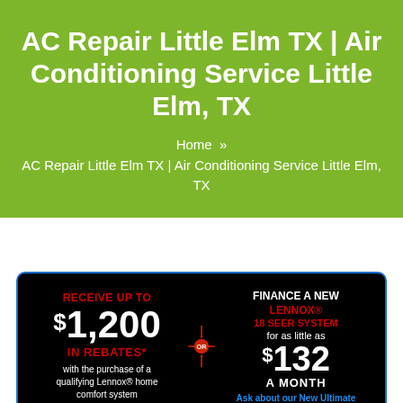AC Repair Little Elm TX | Air Conditioning Service Little Elm, TX
Home » AC Repair Little Elm TX | Air Conditioning Service Little Elm, TX
[Figure (infographic): Promotional banner on black background with blue border. Left side: 'RECEIVE UP TO $1,200 IN REBATES* with the purchase of a qualifying Lennox® home comfort system'. Center: red and white OR medallion. Right side: 'FINANCE A NEW LENNOX® 18 SEER SYSTEM for as little as $132 A MONTH. Ask about our New Ultimate']